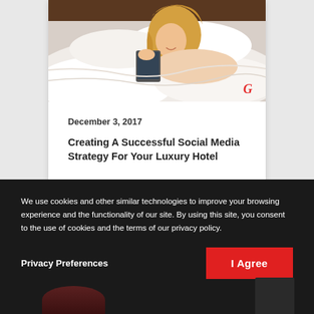[Figure (photo): Woman lying in bed smiling and holding a tablet device, with white bedding. A small red 'G' logo watermark appears in the lower right of the image.]
December 3, 2017
Creating A Successful Social Media Strategy For Your Luxury Hotel
We use cookies and other similar technologies to improve your browsing experience and the functionality of our site. By using this site, you consent to the use of cookies and the terms of our privacy policy.
Privacy Preferences
I Agree